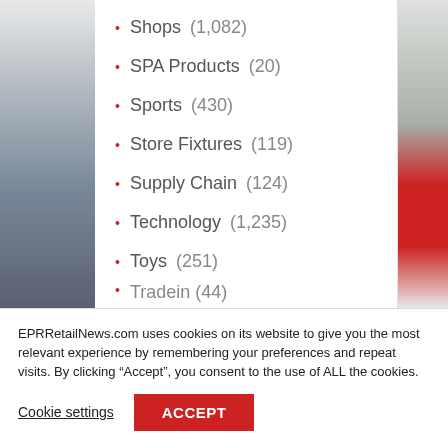Shops (1,082)
SPA Products (20)
Sports (430)
Store Fixtures (119)
Supply Chain (124)
Technology (1,235)
Toys (251)
Tradein (44)
EPRRetailNews.com uses cookies on its website to give you the most relevant experience by remembering your preferences and repeat visits. By clicking “Accept”, you consent to the use of ALL the cookies.
Cookie settings
ACCEPT